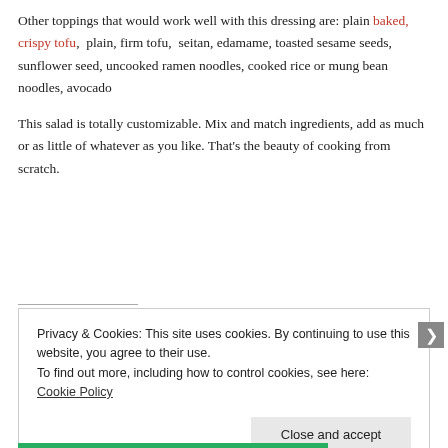Other toppings that would work well with this dressing are: plain baked, crispy tofu, plain, firm tofu, seitan, edamame, toasted sesame seeds, sunflower seed, uncooked ramen noodles, cooked rice or mung bean noodles, avocado
This salad is totally customizable. Mix and match ingredients, add as much or as little of whatever as you like. That's the beauty of cooking from scratch.
Privacy & Cookies: This site uses cookies. By continuing to use this website, you agree to their use.
To find out more, including how to control cookies, see here: Cookie Policy
Close and accept